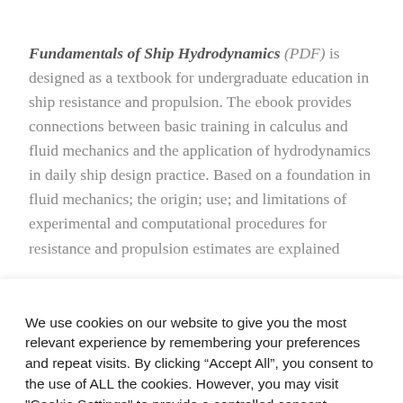Fundamentals of Ship Hydrodynamics (PDF) is designed as a textbook for undergraduate education in ship resistance and propulsion. The ebook provides connections between basic training in calculus and fluid mechanics and the application of hydrodynamics in daily ship design practice. Based on a foundation in fluid mechanics; the origin; use; and limitations of experimental and computational procedures for resistance and propulsion estimates are explained
We use cookies on our website to give you the most relevant experience by remembering your preferences and repeat visits. By clicking “Accept All”, you consent to the use of ALL the cookies. However, you may visit "Cookie Settings" to provide a controlled consent.